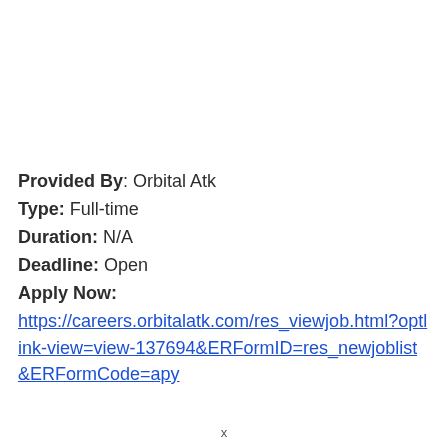Provided By: Orbital Atk
Type: Full-time
Duration: N/A
Deadline: Open
Apply Now:
https://careers.orbitalatk.com/res_viewjob.html?optlink-view=view-137694&ERFormID=res_newjoblist&ERFormCode=apy
x